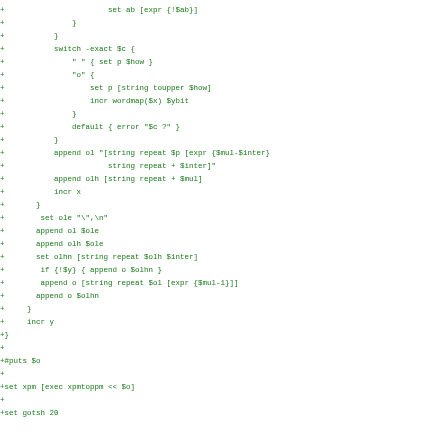[Figure (screenshot): Code diff snippet showing Tcl script additions (green '+' lines) with switch statements, string operations, append/incr commands, and set operations for xpm processing]